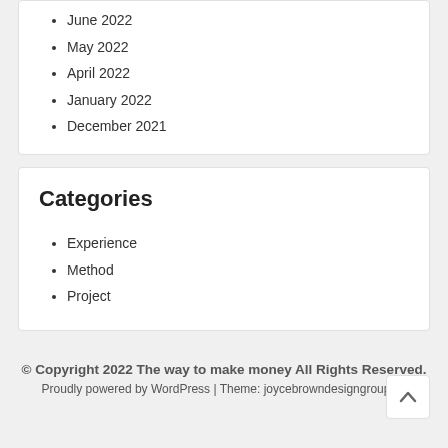June 2022
May 2022
April 2022
January 2022
December 2021
Categories
Experience
Method
Project
© Copyright 2022 The way to make money All Rights Reserved.
Proudly powered by WordPress | Theme: joycebrowndesigngroup by